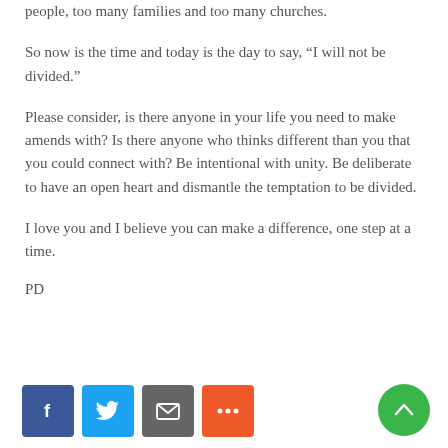people, too many families and too many churches.
So now is the time and today is the day to say, “I will not be divided.”
Please consider, is there anyone in your life you need to make amends with? Is there anyone who thinks different than you that you could connect with? Be intentional with unity. Be deliberate to have an open heart and dismantle the temptation to be divided.
I love you and I believe you can make a difference, one step at a time.
PD
[Figure (infographic): Social sharing buttons: Facebook (blue), Twitter (light blue), Email (gray), More (orange-red). A green scroll-to-top button on the right.]